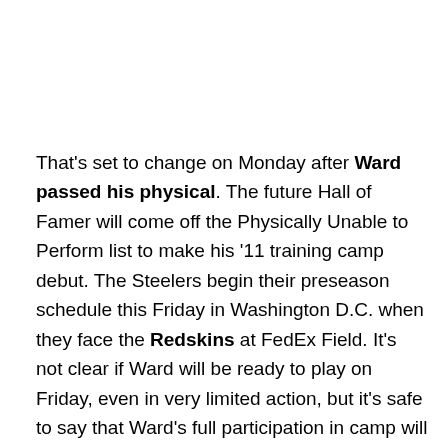That's set to change on Monday after Ward passed his physical. The future Hall of Famer will come off the Physically Unable to Perform list to make his '11 training camp debut. The Steelers begin their preseason schedule this Friday in Washington D.C. when they face the Redskins at FedEx Field. It's not clear if Ward will be ready to play on Friday, even in very limited action, but it's safe to say that Ward's full participation in camp will give the Steelers and their young offensive playmakers a little more pep in their step as they prepare for the 2011 season.